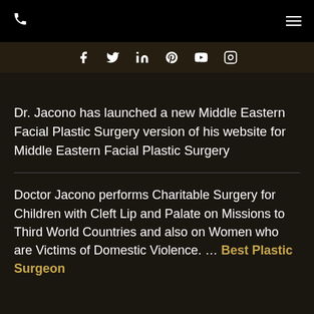Navigation bar with phone icon and menu icon
[Figure (other): Social media icons row: Facebook, Twitter, LinkedIn, Pinterest, YouTube, Instagram]
Dr. Jacono has launched a new Middle Eastern Facial Plastic Surgery version of his website for Middle Eastern Facial Plastic Surgery
Doctor Jacono performs Charitable Surgery for Children with Cleft Lip and Palate on Missions to Third World Countries and also on Women who are Victims of Domestic Violence. … Best Plastic Surgeon